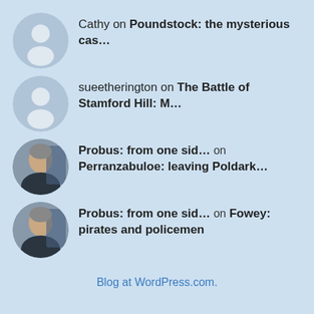Cathy on Poundstock: the mysterious cas...
sueetherington on The Battle of Stamford Hill: M...
Probus: from one sid... on Perranzabuloe: leaving Poldark...
Probus: from one sid... on Fowey: pirates and policemen
Blog at WordPress.com.